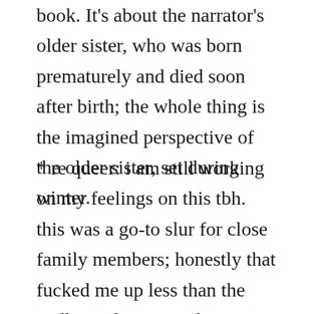book. It's about the narrator's older sister, who was born prematurely and died soon after birth; the whole thing is the imagined perspective of the older sister, set during winter.
* re queer: i am still working on my feelings on this tbh. this was a go-to slur for close family members; honestly that fucked me up less than the endless #discourse about — yes, it is fucked up to tell someone else they can't identify as queer, but also the amount of "how dare you imply calling people 'queer' as an umbrella term is not always